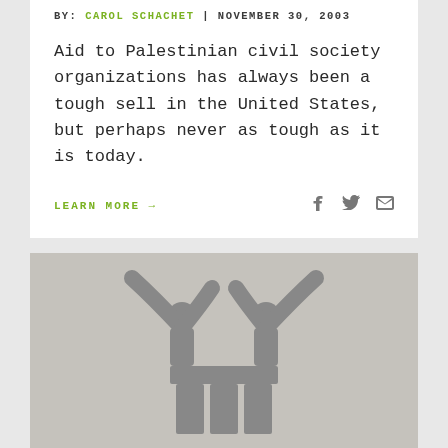BY: CAROL SCHACHET | NOVEMBER 30, 2003
Aid to Palestinian civil society organizations has always been a tough sell in the United States, but perhaps never as tough as it is today.
LEARN MORE →
[Figure (logo): Stylized logo of two figures with arms raised on a geometric base, rendered in gray on a light gray background]